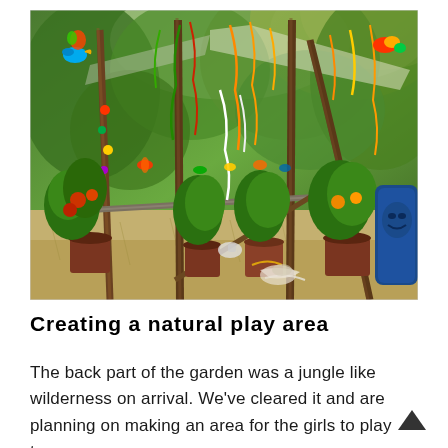[Figure (photo): A garden play area with bamboo/wooden poles forming arched structures decorated with colorful ribbons and streamers. Multiple potted plants and flowers are arranged along the ground. The ground is covered with dry grass/hay. A blue bag or object is visible on the right side. The scene is lush and festively decorated.]
Creating a natural play area
The back part of the garden was a jungle like wilderness on arrival. We've cleared it and are planning on making an area for the girls to play to